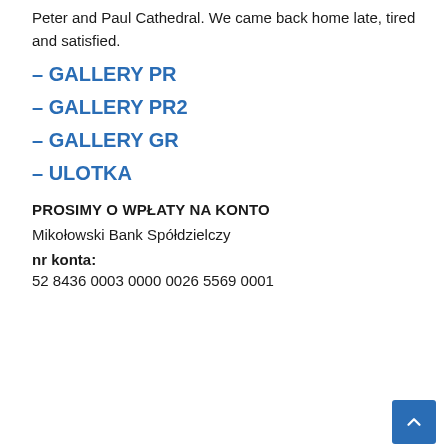Peter and Paul Cathedral. We came back home late, tired and satisfied.
– GALLERY PR
– GALLERY PR2
– GALLERY GR
– ULOTKA
PROSIMY O WPŁATY NA KONTO
Mikołowski Bank Spółdzielczy
nr konta:
52 8436 0003 0000 0026 5569 0001